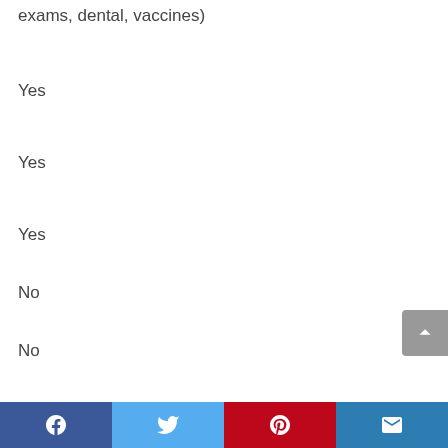exams, dental, vaccines)
Yes
Yes
Yes
No
No
No
Facebook | Twitter | Pinterest | Email